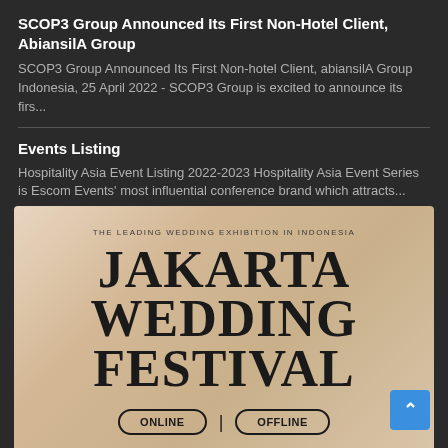SCOP3 Group Announced Its First Non-Hotel Client, AbiansilA Group
SCOP3 Group Announced Its First Non-hotel Client, abiansilA Group Indonesia, 25 April 2022 - SCOP3 Group is excited to announce its firs...
Events Listing
Hospitality Asia Event Listing 2022-2023 Hospitality Asia Event Series is Escom Events' most influential conference brand which attracts...
[Figure (illustration): Jakarta Wedding Festival promotional banner with cream/beige gradient background. Shows text: 'THE LEADING WEDDING EXHIBITION IN INDONESIA' at top, then large serif text 'JAKARTA WEDDING FESTIVAL', with ONLINE and OFFLINE pill buttons at the bottom.]